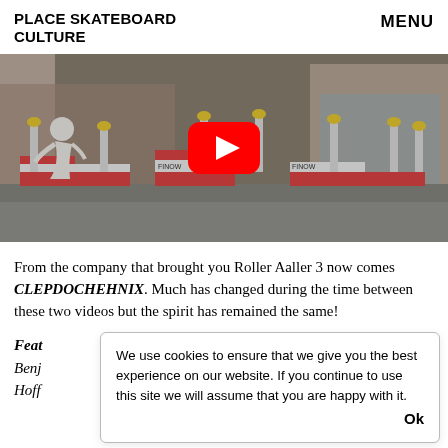PLACE SKATEBOARD CULTURE
MENU
[Figure (screenshot): Video thumbnail showing a skateboarder performing a trick over orange and white construction barriers in an urban street setting, with a YouTube play button overlay in the center.]
From the company that brought you Roller Aaller 3 now comes CLEPDOCHEHNIX. Much has changed during the time between these two videos but the spirit has remained the same!
Feat
Benj
Hoff
We use cookies to ensure that we give you the best experience on our website. If you continue to use this site we will assume that you are happy with it.  Ok